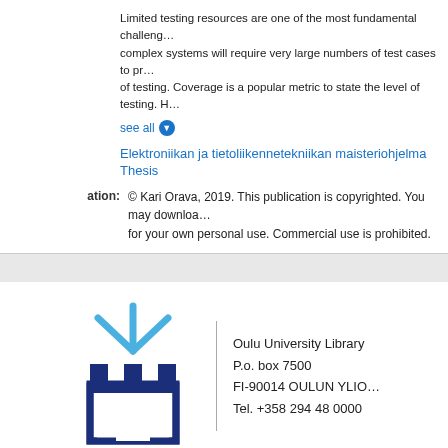Limited testing resources are one of the most fundamental challenges. complex systems will require very large numbers of test cases to provide adequate coverage of testing. Coverage is a popular metric to state the level of testing. H…
see all
Elektroniikan ja tietoliikennetekniikan maisteriohjelma
Thesis
© Kari Orava, 2019. This publication is copyrighted. You may download, display and print it for your own personal use. Commercial use is prohibited.
[Figure (logo): Oulu University Library logo: stylized blue castle-like icon with rays above, alongside text: Oulu University Library, P.o. box 7500, FI-90014 OULUN YLIOPISTO, Tel. +358 294 48 0000]